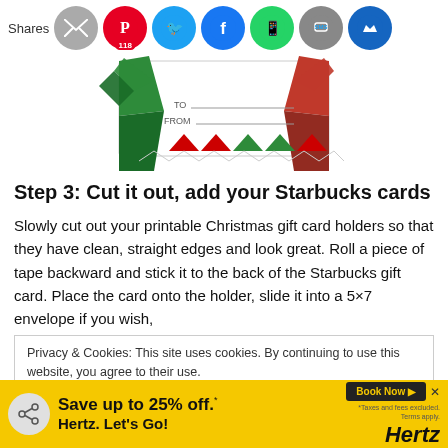Shares — social share buttons including Pinterest (118), Twitter, Facebook, WhatsApp, SMS, Crown
[Figure (photo): Printable Christmas gift card holder with TO and FROM lines, decorated with red and green origami-style folded paper and triangular bunting. Partially cut off at top.]
Step 3: Cut it out, add your Starbucks cards
Slowly cut out your printable Christmas gift card holders so that they have clean, straight edges and look great. Roll a piece of tape backward and stick it to the back of the Starbucks gift card. Place the card onto the holder, slide it into a 5×7 envelope if you wish,
Privacy & Cookies: This site uses cookies. By continuing to use this website, you agree to their use.
To find out more, including how to control cookies, see here: Cookie Policy
[Figure (infographic): Hertz advertisement banner: Save up to 25% off. Hertz. Let's Go! Book Now button. Yellow background with Hertz logo.]